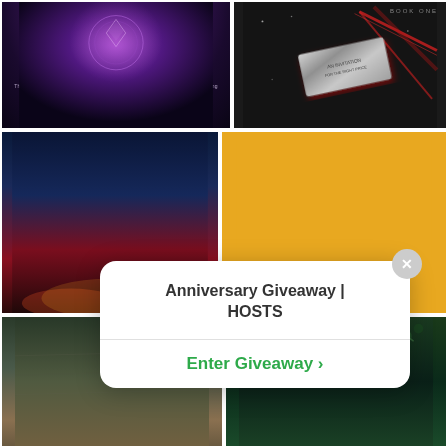[Figure (illustration): Book cover: Intergalactic Exterminators, Inc - purple cosmic background with glowing title text]
[Figure (illustration): Book cover: Dark mystery book with metallic card on dark background with red geometric lines, labeled BOOK ONE]
[Figure (illustration): Book cover: All the Broken Girls by Linda Hurtado Bond - dark blue and red background with author name in red and book title in white]
[Figure (illustration): Book cover: The Damned Lovely - yellow/gold background with bold uppercase title and whiskey glass illustration]
[Figure (illustration): Book cover: In Danger of Judgment - dark military/forest background with bold white title text]
[Figure (illustration): Book cover: Death at the... - dark green background with stylized gold/copper cursive title text]
Anniversary Giveaway | HOSTS
Enter Giveaway >